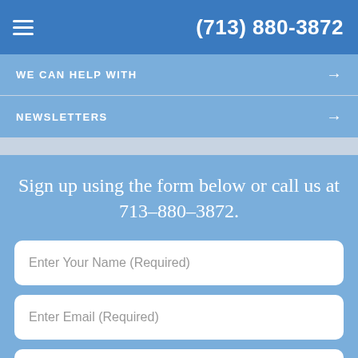(713) 880-3872
WE CAN HELP WITH →
NEWSLETTERS →
Sign up using the form below or call us at 713-880-3872.
Enter Your Name (Required)
Enter Email (Required)
(XXX)XXX-XXXX (Required)